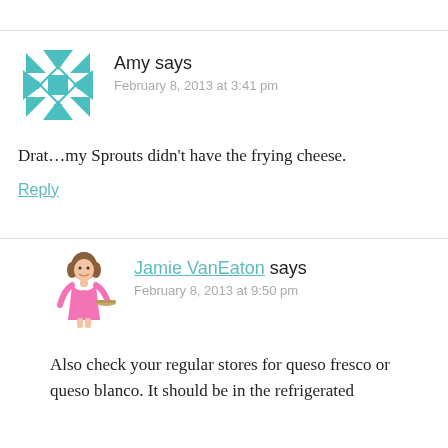[Figure (illustration): Teal/cyan snowflake geometric avatar icon for user Amy]
Amy says
February 8, 2013 at 3:41 pm
Drat…my Sprouts didn't have the frying cheese.
Reply
[Figure (illustration): Cartoon illustration of a woman in a pink dress holding a tray, avatar for Jamie VanEaton]
Jamie VanEaton says
February 8, 2013 at 9:50 pm
Also check your regular stores for queso fresco or queso blanco. It should be in the refrigerated